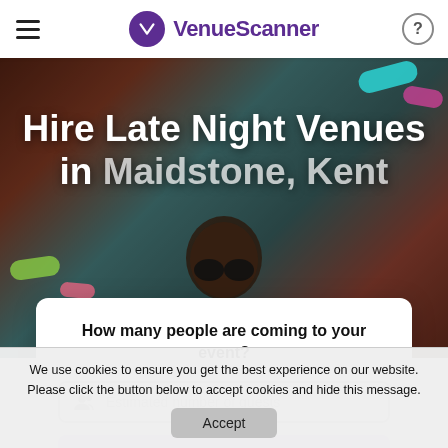VenueScanner
[Figure (photo): Hero background photo of a person lying down wearing round sunglasses, with colorful artistic background elements in teal, pink, and warm tones]
Hire Late Night Venues in Maidstone, Kent
How many people are coming to your event?
Estimated number of guests
We use cookies to ensure you get the best experience on our website. Please click the button below to accept cookies and hide this message.
Accept